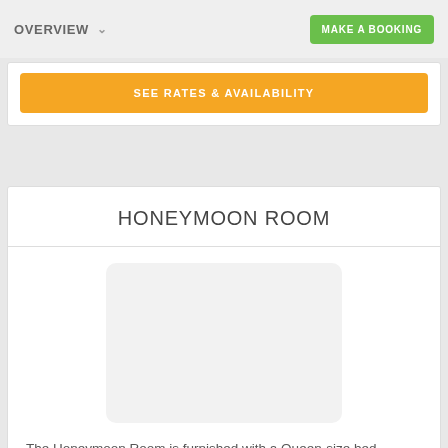OVERVIEW | MAKE A BOOKING
SEE RATES & AVAILABILITY
HONEYMOON ROOM
[Figure (photo): Placeholder image area for Honeymoon Room photo]
The Honeymoon Room is furnished with a Queen-size bed and has an en-suite bathroom
Qty: 2